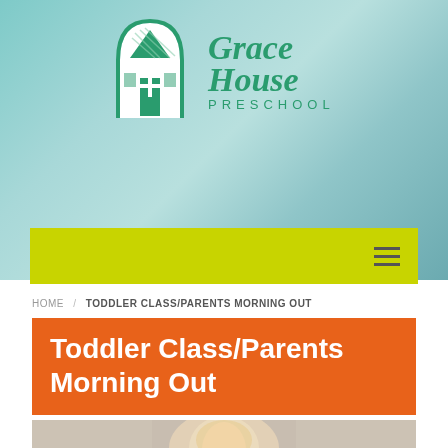[Figure (logo): Grace House Preschool logo with green house/arch icon and stylized text]
[Figure (other): Yellow-green navigation bar with hamburger menu icon on right]
HOME / TODDLER CLASS/PARENTS MORNING OUT
Toddler Class/Parents Morning Out
[Figure (photo): Photo of a young toddler with blonde curly hair, partially visible at bottom of page]